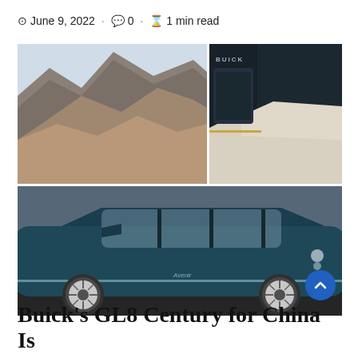June 9, 2022 · 0 · 1 min read
[Figure (photo): Collage of three photos: mountain landscape (top left), Buick GL8 Century interior showing rear seats and open door with Buick logo (top right), and side profile of dark teal Buick GL8 Century minivan against dark background (bottom full width)]
Buick's GL8 Century for China Is